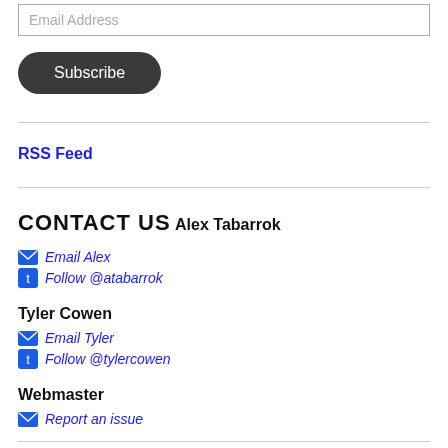Email Address
Subscribe
RSS Feed
CONTACT US
Alex Tabarrok
Email Alex
Follow @atabarrok
Tyler Cowen
Email Tyler
Follow @tylercowen
Webmaster
Report an issue